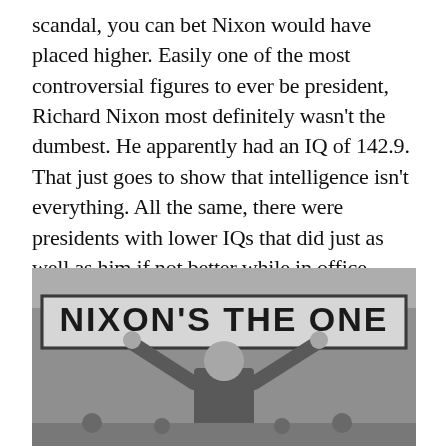scandal, you can bet Nixon would have placed higher. Easily one of the most controversial figures to ever be president, Richard Nixon most definitely wasn't the dumbest. He apparently had an IQ of 142.9. That just goes to show that intelligence isn't everything. All the same, there were presidents with lower IQs that did just as well as him if not better while in office
[Figure (photo): Black and white photograph of Richard Nixon raising both arms in a victory gesture, standing in front of a large banner reading 'NIXON'S THE ONE']